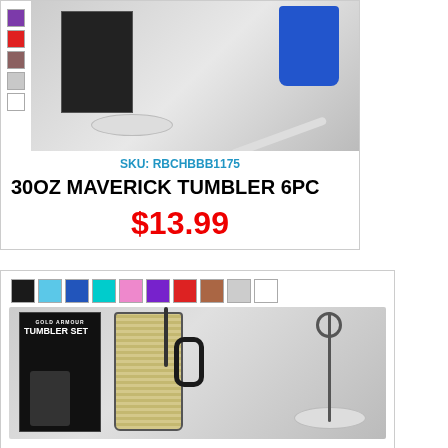[Figure (photo): Product photo of 30oz Maverick Tumbler set with color swatches on the left side]
SKU: RBCHBBB1175
30OZ MAVERICK TUMBLER 6PC
$13.99
[Figure (photo): Product photo of Gold Armour Tumbler Set with color swatches along top and product image below]